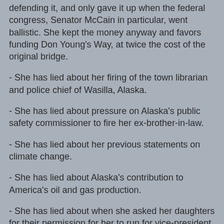defending it, and only gave it up when the federal congress, Senator McCain in particular, went ballistic. She kept the money anyway and favors funding Don Young's Way, at twice the cost of the original bridge.
- She has lied about her firing of the town librarian and police chief of Wasilla, Alaska.
- She has lied about pressure on Alaska's public safety commissioner to fire her ex-brother-in-law.
- She has lied about her previous statements on climate change.
- She has lied about Alaska's contribution to America's oil and gas production.
- She has lied about when she asked her daughters for their permission for her to run for vice-president.